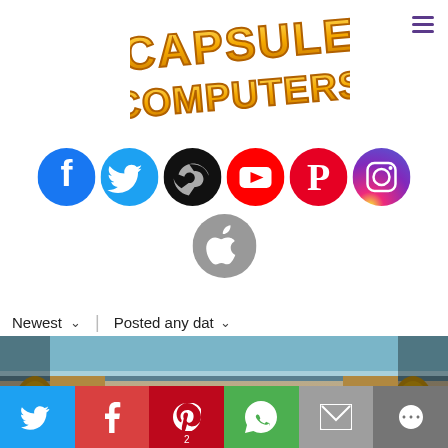[Figure (logo): Capsule Computers logo in stylized yellow/orange pixel-art font]
[Figure (infographic): Row of social media icons: Facebook (blue), Twitter (light blue), Steam (black), YouTube (red), Pinterest (red), Instagram (gradient). Below: Apple (gray) icon.]
Newest  ∨   |   Posted any dat ∨
[Figure (photo): Screenshot of a game showing an ancient Egyptian-style temple interior with pillars and statues.]
[Figure (infographic): Share bar at bottom with Twitter (blue), Facebook (red), Pinterest (dark red) with count 2, WhatsApp (green), Email (gray), More (dark gray) buttons.]